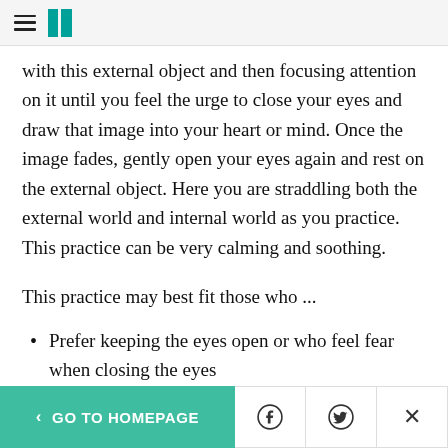[hamburger menu] [HuffPost logo]
with this external object and then focusing attention on it until you feel the urge to close your eyes and draw that image into your heart or mind. Once the image fades, gently open your eyes again and rest on the external object. Here you are straddling both the external world and internal world as you practice. This practice can be very calming and soothing.
This practice may best fit those who ...
Prefer keeping the eyes open or who feel fear when closing the eyes
< GO TO HOMEPAGE  [Facebook] [Twitter] [X]